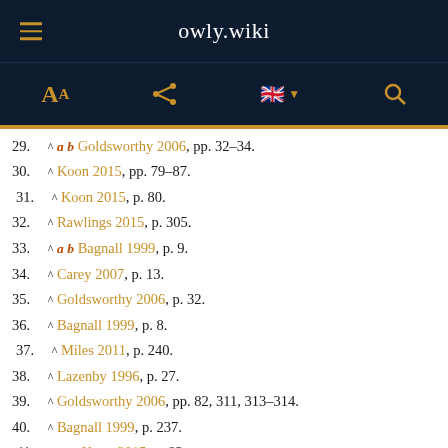owly.wiki
29. ^ a b Goldsworthy 2006, pp. 32–34.
30. ^ Koon 2015, pp. 79–87.
31. ^ Koon 2015, p. 80.
32. ^ Rawlings 2015, p. 305.
33. ^ a b Bagnall 1999, p. 9.
34. ^ Carey 2007, p. 13.
35. ^ Goldsworthy 2006, p. 32.
36. ^ Bagnall 1999, p. 8.
37. ^ Miles 2011, p. 240.
38. ^ Lazenby 1996, p. 27.
39. ^ Goldsworthy 2006, pp. 82, 311, 313–314.
40. ^ Bagnall 1999, p. 237.
41. ^ a b Koon 2015, p. 93.
42. ^ Goldsworthy 2006, p. 55.